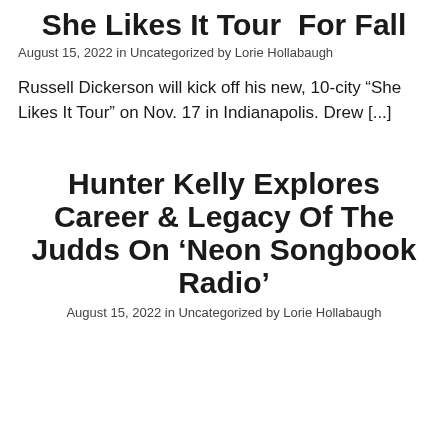She Likes It Tour For Fall
August 15, 2022 in Uncategorized by Lorie Hollabaugh
Russell Dickerson will kick off his new, 10-city “She Likes It Tour” on Nov. 17 in Indianapolis. Drew [...]
Hunter Kelly Explores Career & Legacy Of The Judds On ‘Neon Songbook Radio’
August 15, 2022 in Uncategorized by Lorie Hollabaugh